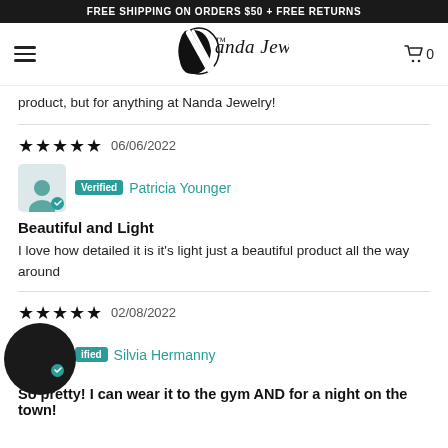FREE SHIPPING ON ORDERS $50 + FREE RETURNS
[Figure (logo): Nanda Jewelry logo with stylized N and script text, hamburger menu and cart icon]
product, but for anything at Nanda Jewelry!
★★★★★ 06/06/2022 Verified Patricia Younger
Beautiful and Light
I love how detailed it is it's light just a beautiful product all the way around
★★★★ 02/08/2022 Verified Silvia Hermanny
So pretty! I can wear it to the gym AND for a night on the town!